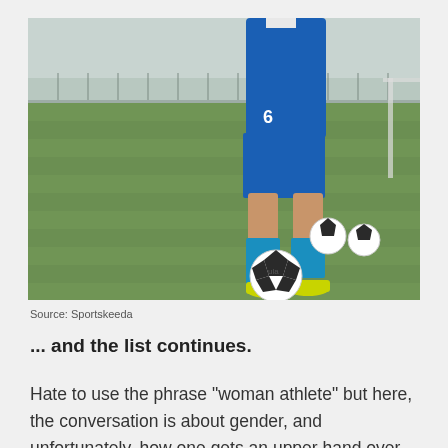[Figure (photo): A soccer player in blue uniform number 6 standing on a green grass field with two footballs near their feet. The background shows a sports facility and hazy sky.]
Source: Sportskeeda
... and the list continues.
Hate to use the phrase "woman athlete" but here, the conversation is about gender, and unfortunately, how one gets an upper hand over another. Waiting for the day when everyone representing India can be